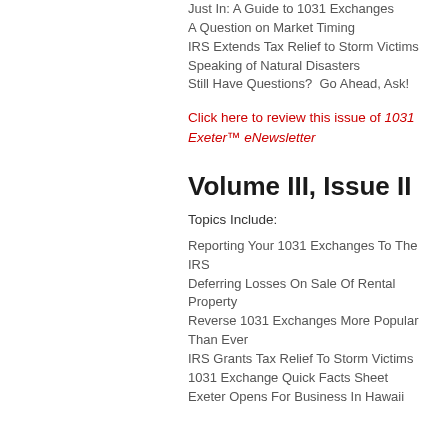Just In: A Guide to 1031 Exchanges
A Question on Market Timing
IRS Extends Tax Relief to Storm Victims
Speaking of Natural Disasters
Still Have Questions?  Go Ahead, Ask!
Click here to review this issue of 1031 Exeter™ eNewsletter
Volume III, Issue II
Topics Include:
Reporting Your 1031 Exchanges To The IRS
Deferring Losses On Sale Of Rental Property
Reverse 1031 Exchanges More Popular Than Ever
IRS Grants Tax Relief To Storm Victims
1031 Exchange Quick Facts Sheet
Exeter Opens For Business In Hawaii